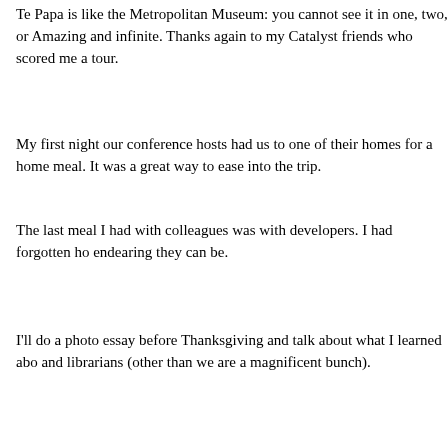Te Papa is like the Metropolitan Museum: you cannot see it in one, two, or Amazing and infinite. Thanks again to my Catalyst friends who scored me a tour.
My first night our conference hosts had us to one of their homes for a home meal. It was a great way to ease into the trip.
The last meal I had with colleagues was with developers. I had forgotten ho endearing they can be.
I’ll do a photo essay before Thanksgiving and talk about what I learned abo and librarians (other than we are a magnificent bunch).